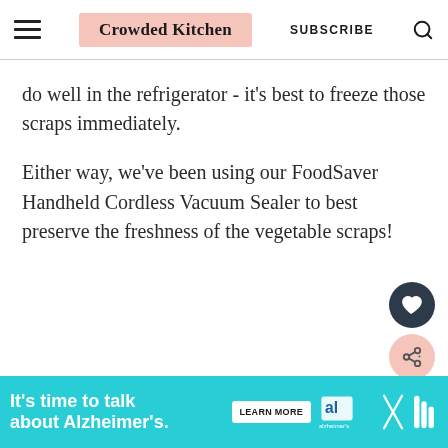Crowded Kitchen | SUBSCRIBE
do well in the refrigerator - it's best to freeze those scraps immediately.
Either way, we've been using our FoodSaver Handheld Cordless Vacuum Sealer to best preserve the freshness of the vegetable scraps!
[Figure (other): Dark circular button with heart icon (save/favorite button)]
[Figure (other): Pink circular button with share icon]
[Figure (other): Alzheimer's Association advertisement banner: teal background with text 'It's time to talk about Alzheimer's.' and a LEARN MORE button]